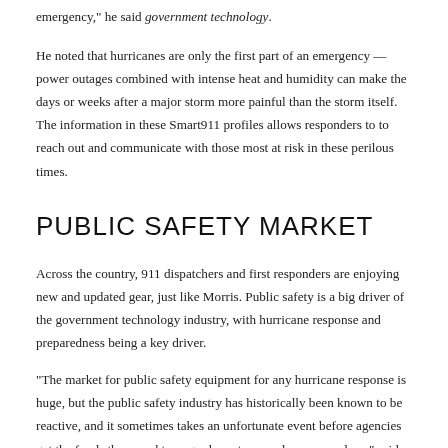emergency," he said government technology.
He noted that hurricanes are only the first part of an emergency — power outages combined with intense heat and humidity can make the days or weeks after a major storm more painful than the storm itself. The information in these Smart911 profiles allows responders to to reach out and communicate with those most at risk in these perilous times.
PUBLIC SAFETY MARKET
Across the country, 911 dispatchers and first responders are enjoying new and updated gear, just like Morris. Public safety is a big driver of the government technology industry, with hurricane response and preparedness being a key driver.
"The market for public safety equipment for any hurricane response is huge, but the public safety industry has historically been known to be reactive, and it sometimes takes an unfortunate event before agencies get the funds they need to upgrade systems and response plans," said Erin Bunner, vice